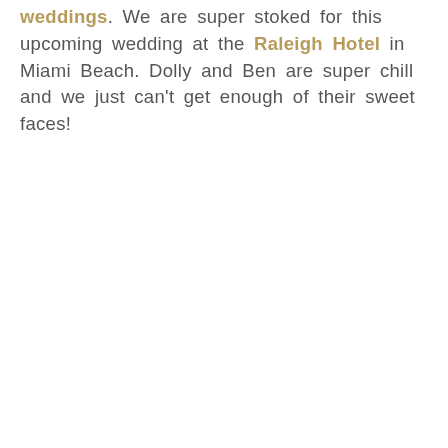weddings. We are super stoked for this upcoming wedding at the Raleigh Hotel in Miami Beach. Dolly and Ben are super chill and we just can't get enough of their sweet faces!